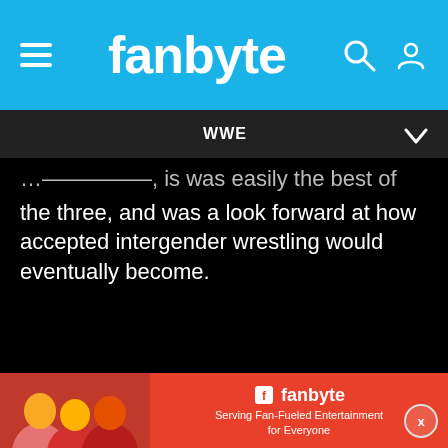fanbyte
WWE
the three, and was a look forward at how accepted intergender wrestling would eventually become.
[Figure (infographic): Fanbyte advertisement banner: red background with people playing games, fanbyte logo, and tagline 'Serving Fan-Fueled Entertainment for Everyone']